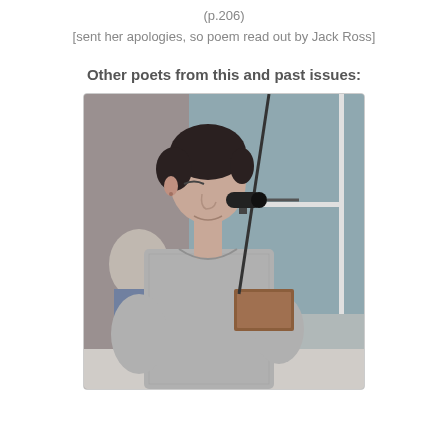(p.206)
[sent her apologies, so poem read out by Jack Ross]
Other poets from this and past issues:
[Figure (photo): A woman with short dark hair stands at a microphone, reading from a book/tablet, wearing a grey textured top. The background shows a window and other people.]